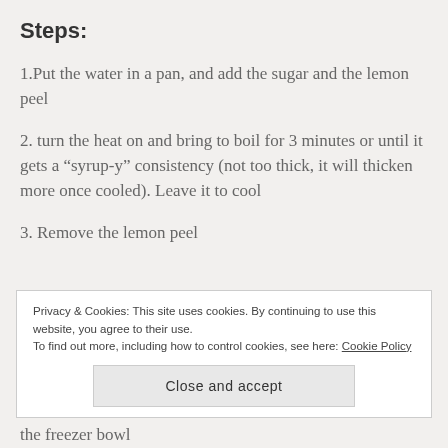Steps:
1.Put the water in a pan, and add the sugar and the lemon peel
2. turn the heat on and bring to boil for 3 minutes or until it gets a “syrup-y” consistency (not too thick, it will thicken more once cooled). Leave it to cool
3. Remove the lemon peel
Privacy & Cookies: This site uses cookies. By continuing to use this website, you agree to their use.
To find out more, including how to control cookies, see here: Cookie Policy
Close and accept
the freezer bowl